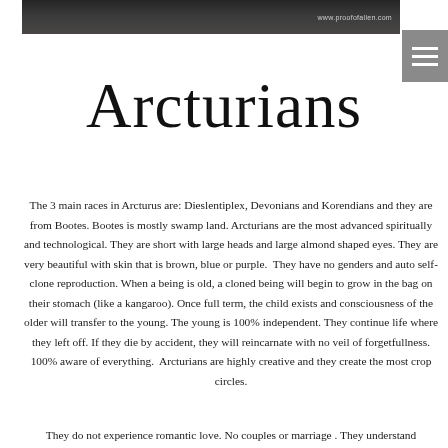www.proofofalien.com
Arcturians
The 3 main races in Arcturus are: Dieslentiplex, Devonians and Korendians and they are from Bootes. Bootes is mostly swamp land. Arcturians are the most advanced spiritually and technological. They are short with large heads and large almond shaped eyes. They are very beautiful with skin that is brown, blue or purple.  They have no genders and auto self-clone reproduction. When a being is old, a cloned being will begin to grow in the bag on their stomach (like a kangaroo). Once full term, the child exists and consciousness of the older will transfer to the young. The young is 100% independent. They continue life where they left off. If they die by accident, they will reincarnate with no veil of forgetfullness. 100% aware of everything.  Arcturians are highly creative and they create the most crop circles.
They do not experience romantic love. No couples or marriage . They understand